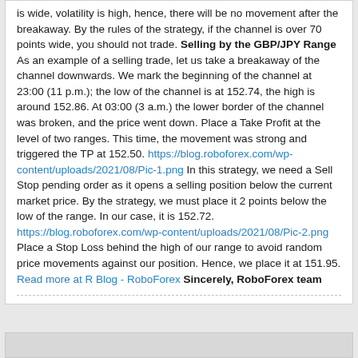is wide, volatility is high, hence, there will be no movement after the breakaway. By the rules of the strategy, if the channel is over 70 points wide, you should not trade. Selling by the GBP/JPY Range As an example of a selling trade, let us take a breakaway of the channel downwards. We mark the beginning of the channel at 23:00 (11 p.m.); the low of the channel is at 152.74, the high is around 152.86. At 03:00 (3 a.m.) the lower border of the channel was broken, and the price went down. Place a Take Profit at the level of two ranges. This time, the movement was strong and triggered the TP at 152.50. https://blog.roboforex.com/wp-content/uploads/2021/08/Pic-1.png In this strategy, we need a Sell Stop pending order as it opens a selling position below the current market price. By the strategy, we must place it 2 points below the low of the range. In our case, it is 152.72. https://blog.roboforex.com/wp-content/uploads/2021/08/Pic-2.png Place a Stop Loss behind the high of our range to avoid random price movements against our position. Hence, we place it at 151.95. Read more at R Blog - RoboForex Sincerely, RoboForex team